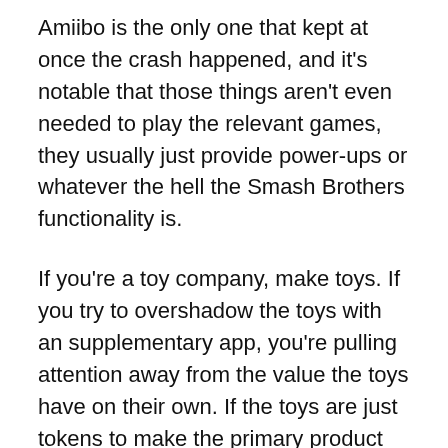Amiibo is the only one that kept at once the crash happened, and it's notable that those things aren't even needed to play the relevant games, they usually just provide power-ups or whatever the hell the Smash Brothers functionality is.
If you're a toy company, make toys. If you try to overshadow the toys with an supplementary app, you're pulling attention away from the value the toys have on their own. If the toys are just tokens to make the primary product (an app or game) work, then they cease to be toys and instead are a physical version of DLC (downloadable content) which adds cost but